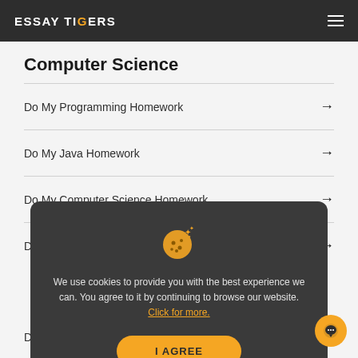ESSAY TIGERS
Computer Science
Do My Programming Homework
Do My Java Homework
Do My Computer Science Homework
Do My Coding Homework
We use cookies to provide you with the best experience we can. You agree to it by continuing to browse our website. Click for more.
Do My Programming Homework